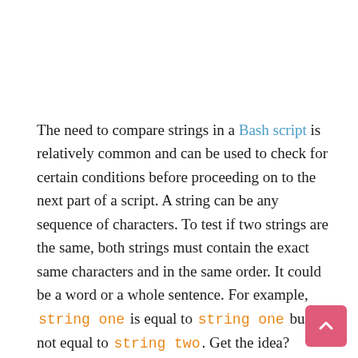The need to compare strings in a Bash script is relatively common and can be used to check for certain conditions before proceeding on to the next part of a script. A string can be any sequence of characters. To test if two strings are the same, both strings must contain the exact same characters and in the same order. It could be a word or a whole sentence. For example, string one is equal to string one but is not equal to string two. Get the idea?